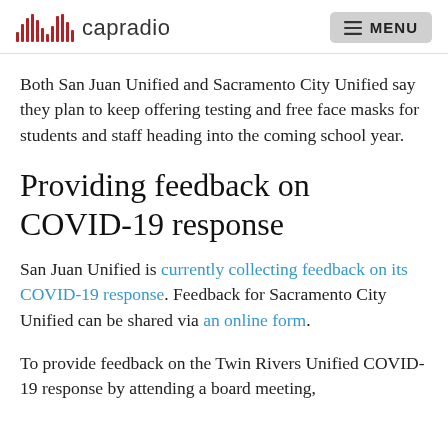capradio  MENU
Both San Juan Unified and Sacramento City Unified say they plan to keep offering testing and free face masks for students and staff heading into the coming school year.
Providing feedback on COVID-19 response
San Juan Unified is currently collecting feedback on its COVID-19 response. Feedback for Sacramento City Unified can be shared via an online form.
To provide feedback on the Twin Rivers Unified COVID-19 response by attending a board meeting,